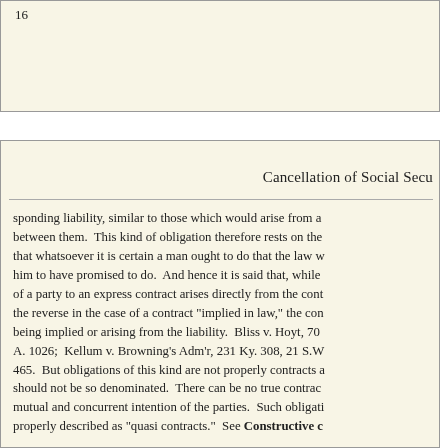16
Cancellation of Social Secu
sponding liability, similar to those which would arise from a between them. This kind of obligation therefore rests on the that whatsoever it is certain a man ought to do that the law w him to have promised to do. And hence it is said that, while of a party to an express contract arises directly from the cont the reverse in the case of a contract "implied in law," the con being implied or arising from the liability. Bliss v. Hoyt, 70 A. 1026; Kellum v. Browning's Adm'r, 231 Ky. 308, 21 S.W 465. But obligations of this kind are not properly contracts a should not be so denominated. There can be no true contrac mutual and concurrent intention of the parties. Such obligati properly described as "quasi contracts." See Constructive c